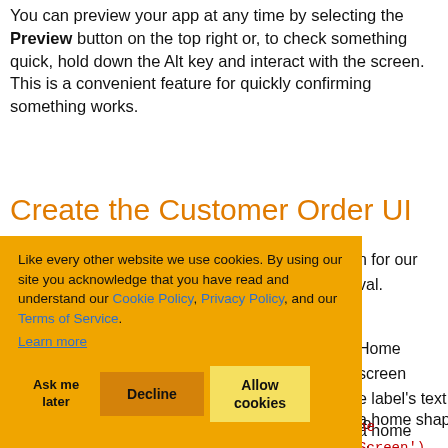You can preview your app at any time by selecting the Preview button on the top right or, to check something quick, hold down the Alt key and interact with the screen. This is a convenient feature for quickly confirming something works.
Create the Customer Order UI
n for our val.
[Figure (other): Cookie consent banner with orange background. Text: 'Like every other website we use cookies. By using our site you acknowledge that you have read and understand our Cookie Policy, Privacy Policy, and our Terms of Service. Learn more'. Buttons: Ask me later, Decline, Allow cookies.]
Home screen e label's text to a home shape ne Screen').
Now you can add labels and convert it to the